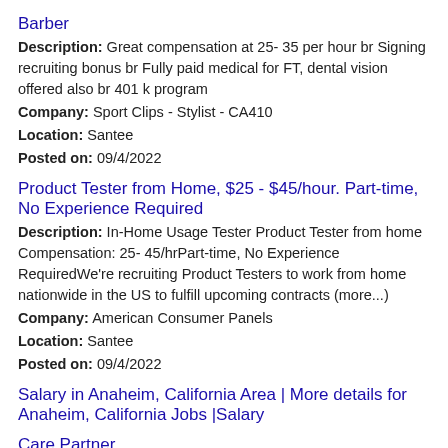Barber
Description: Great compensation at 25- 35 per hour br Signing recruiting bonus br Fully paid medical for FT, dental vision offered also br 401 k program
Company: Sport Clips - Stylist - CA410
Location: Santee
Posted on: 09/4/2022
Product Tester from Home, $25 - $45/hour. Part-time, No Experience Required
Description: In-Home Usage Tester Product Tester from home Compensation: 25- 45/hrPart-time, No Experience RequiredWe're recruiting Product Testers to work from home nationwide in the US to fulfill upcoming contracts (more...)
Company: American Consumer Panels
Location: Santee
Posted on: 09/4/2022
Salary in Anaheim, California Area | More details for Anaheim, California Jobs |Salary
Care Partner
Description: Do you have a heart for elders Do you believe that the